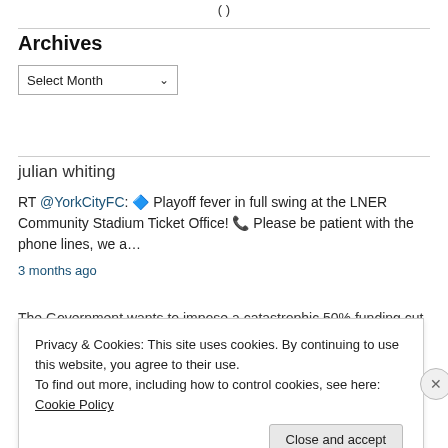( )
Archives
Select Month
julian whiting
RT @YorkCityFC: 🔷 Playoff fever in full swing at the LNER Community Stadium Ticket Office! 📞 Please be patient with the phone lines, we a…
3 months ago
The Government wants to impose a catastrophic 50% funding cut to
Privacy & Cookies: This site uses cookies. By continuing to use this website, you agree to their use.
To find out more, including how to control cookies, see here: Cookie Policy
Close and accept